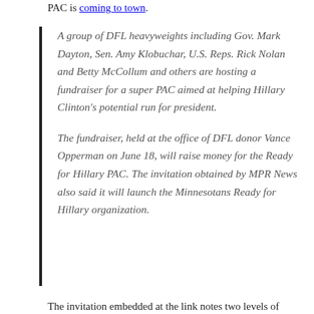PAC is coming to town.
A group of DFL heavyweights including Gov. Mark Dayton, Sen. Amy Klobuchar, U.S. Reps. Rick Nolan and Betty McCollum and others are hosting a fundraiser for a super PAC aimed at helping Hillary Clinton's potential run for president.
The fundraiser, held at the office of DFL donor Vance Opperman on June 18, will raise money for the Ready for Hillary PAC. The invitation obtained by MPR News also said it will launch the Minnesotans Ready for Hillary organization.
The invitation embedded at the link notes two levels of